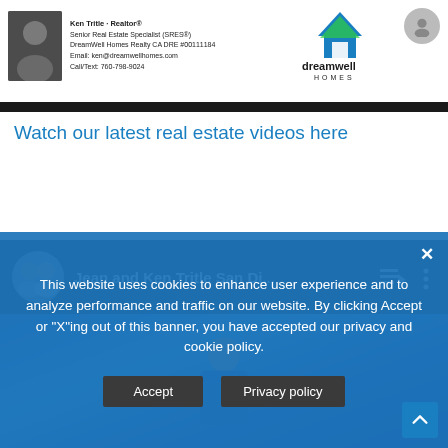Ken Tritle · Realtor® Senior Real Estate Specialist (SRES®) DreamWell Homes Realty CA DRE #00111184 Email: ken@dreamwellhomes.com Call/Text: 760-798-9024 | dreamwell HOMES www.dreamwellhomes.com
Watch our latest real estate videos here
[Figure (screenshot): YouTube playlist embed showing 'Jean and Ken Tritle San Di...' channel with two presenter avatars, playlist icon, and video thumbnail of a person]
This website uses cookies to enhance user experience and to analyze performance and traffic on our website. By clicking Accept or "X"ing out of this banner, you have accepted our privacy and cookie policy.
Accept    Privacy policy